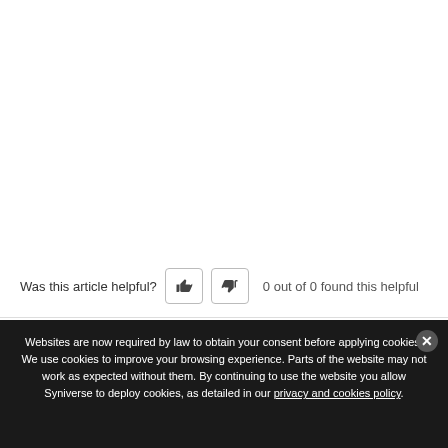Was this article helpful?  0 out of 0 found this helpful
Websites are now required by law to obtain your consent before applying cookies. We use cookies to improve your browsing experience. Parts of the website may not work as expected without them. By continuing to use the website you allow Syniverse to deploy cookies, as detailed in our privacy and cookies policy.